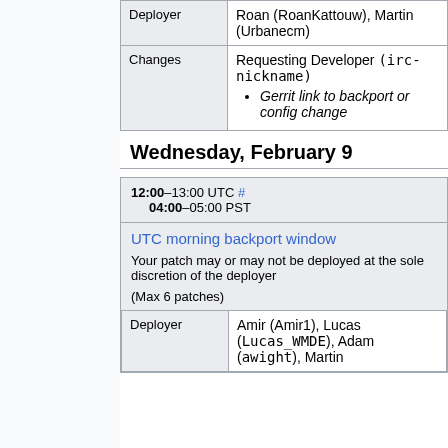|  |  |
| --- | --- |
| Deployer | Roan (RoanKattouw), Martin (Urbanecm) |
| Changes | Requesting Developer (irc-nickname)
• Gerrit link to backport or config change |
Wednesday, February 9
12:00–13:00 UTC #
04:00–05:00 PST
| UTC morning backport window |  |
|  | Your patch may or may not be deployed at the sole discretion of the deployer |
|  | (Max 6 patches) |
| Deployer | Amir (Amir1), Lucas (Lucas_WMDE), Adam (awight), Martin |